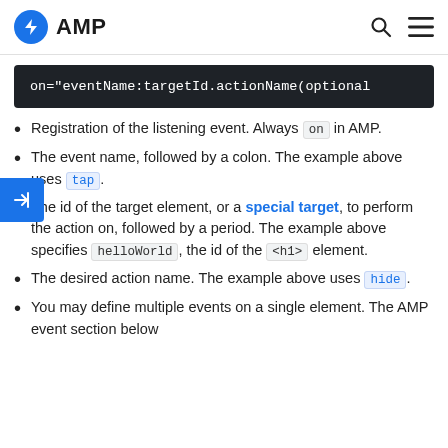AMP
[Figure (screenshot): Code block showing: on="eventName:targetId.actionName(optional]
Registration of the listening event. Always `on` in AMP.
The event name, followed by a colon. The example above uses `tap`.
The id of the target element, or a special target, to perform the action on, followed by a period. The example above specifies `helloWorld`, the id of the `<h1>` element.
The desired action name. The example above uses `hide`.
You may define multiple events on a single element. The AMP event section below